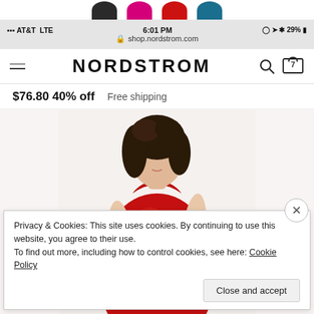[Figure (screenshot): Color swatches row showing four half-circle swatches: black, pink/magenta, red, and teal/dark cyan]
[Figure (screenshot): Mobile phone status bar showing AT&T LTE, 6:01 PM, 29% battery, and URL bar showing shop.nordstrom.com]
[Figure (screenshot): Nordstrom website navigation bar with hamburger menu, NORDSTROM logo, search icon, and cart icon showing 7 items]
$76.80 40% off    Free shipping
[Figure (photo): Woman wearing a red sequined halter dress, shown from shoulders to waist, with curly dark hair]
Privacy & Cookies: This site uses cookies. By continuing to use this website, you agree to their use.
To find out more, including how to control cookies, see here: Cookie Policy
Close and accept